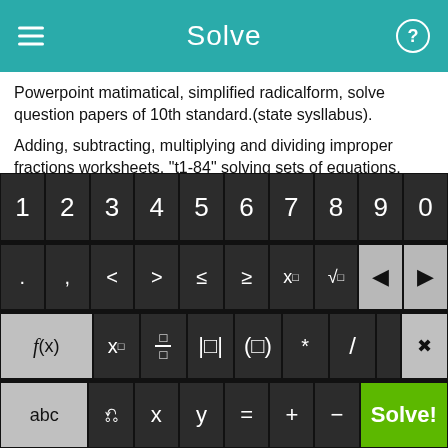Solve
Powerpoint matimatical, simplified radicalform, solve question papers of 10th standard.(state sysllabus).
Adding, subtracting, multiplying and dividing improper fractions worksheets, "t1-84" solving sets of equations, solve difference quotient, Addition and Subtraction of fractions with like denominators worksheets, learn pre algebra online free.
Factor 4x2-6x=9, subtraction of trig functions, math tutors in san antonio texas...
[Figure (screenshot): On-screen math keyboard with rows: digits 1-9,0; symbols . , < > ≤ ≥ x□ √□ back-arrows; f(x) x□ fraction absolute-value parenthesis * / delete; abc rotate x y = + – Solve! button]